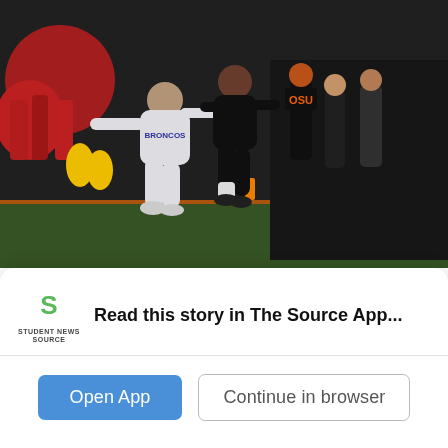[Figure (photo): Action photo of a football game showing two players jumping/diving near the end zone. One player in white Broncos uniform, one in dark OSU uniform. Crowd and sideline staff visible in background. Scoreboard/stadium lights in background.]
Beavers beat the Broncos, breaking their...
Read this story in The Source App...
Open App
Continue in browser